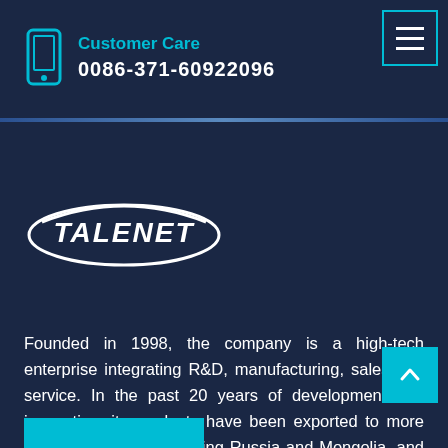Customer Care
0086-371-60922096
[Figure (logo): TALENET company logo — white oval swoosh design with TALENET text in white italic bold lettering on dark navy background]
Founded in 1998, the company is a high-tech enterprise integrating R&D, manufacturing, sales and service. In the past 20 years of development and innovation, its products have been exported to more than 80 countries including Russia and Mongolia, and long-term cooperative relations have been established with local companies.